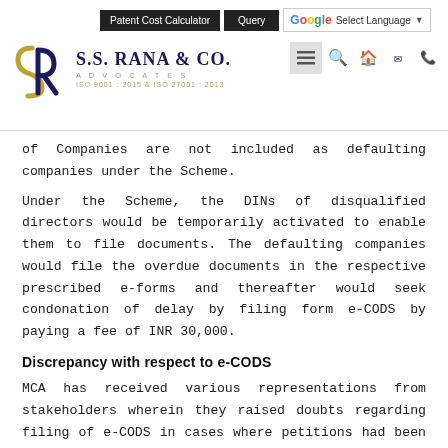[Figure (logo): S.S. Rana & Co. Advocates logo with SR monogram, ISO 9001:2015 & ISO 27001:2013 certification marks]
Patent Cost Calculator | Query | Select Language
of Companies are not included as defaulting companies under the Scheme.
Under the Scheme, the DINs of disqualified directors would be temporarily activated to enable them to file documents. The defaulting companies would file the overdue documents in the respective prescribed e-forms and thereafter would seek condonation of delay by filing form e-CODS by paying a fee of INR 30,000.
Discrepancy with respect to e-CODS
MCA has received various representations from stakeholders wherein they raised doubts regarding filing of e-CODS in cases where petitions had been filed before NCLT under Section 252 of the Companies Act, 2013, and orders were pending from NCLT.